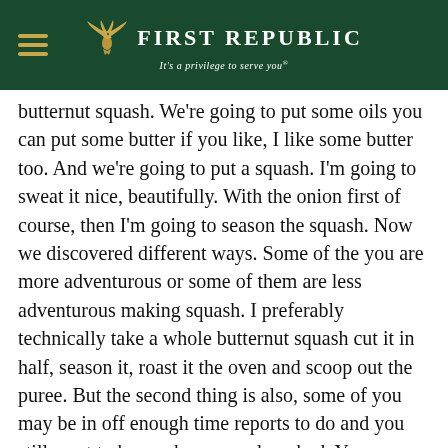First Republic — It's a privilege to serve you®
butternut squash. We're going to put some oils you can put some butter if you like, I like some butter too. And we're going to put a squash. I'm going to sweat it nice, beautifully. With the onion first of course, then I'm going to season the squash. Now we discovered different ways. Some of the you are more adventurous or some of them are less adventurous making squash. I preferably technically take a whole butternut squash cut it in half, season it, roast it the oven and scoop out the puree. But the second thing is also, some of you may be in off enough time reports to do and you still want to have a home meal cooked. You can go to the stores like any grocery store you like more there's a season, they have, you can buy like the dice, butternut squash or anything like that makes it easy for you to do that. So I thought, you that will be easy for you because you guys are always busy. So what I would like to do I put my all of my butter will be here, I'm going to have to diced butternut squash. We're going to sweat the onions, stay nice and translate with the butternut squash season, sweating too, as well, season it with that